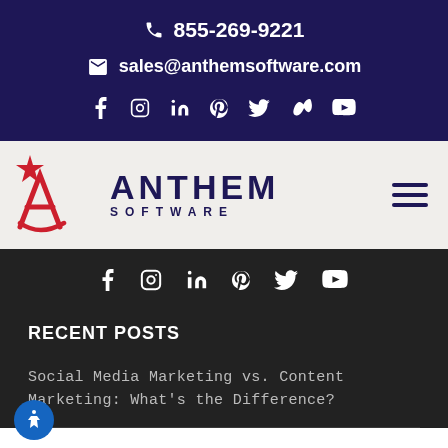855-269-9221
sales@anthemsoftware.com
[Figure (logo): Social media icons row: facebook, instagram, linkedin, pinterest, twitter, vimeo, youtube (white on dark blue background)]
[Figure (logo): Anthem Software logo with red stylized letter A and star, dark navy ANTHEM SOFTWARE text, on light gray background]
[Figure (logo): Social media icons row: facebook, instagram, linkedin, pinterest, twitter, youtube (white on dark background)]
RECENT POSTS
Social Media Marketing vs. Content Marketing: What's the Difference?